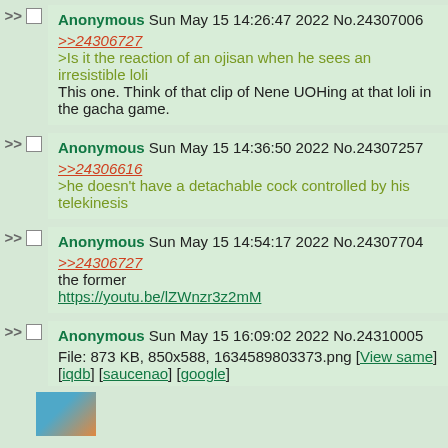>> Anonymous Sun May 15 14:26:47 2022 No.24307006
>>24306727
>Is it the reaction of an ojisan when he sees an irresistible loli
This one. Think of that clip of Nene UOHing at that loli in the gacha game.
>> Anonymous Sun May 15 14:36:50 2022 No.24307257
>>24306616
>he doesn't have a detachable cock controlled by his telekinesis
>> Anonymous Sun May 15 14:54:17 2022 No.24307704
>>24306727
the former
https://youtu.be/lZWnzr3z2mM
>> Anonymous Sun May 15 16:09:02 2022 No.24310005
File: 873 KB, 850x588, 1634589803373.png [View same] [iqdb] [saucenao] [google]